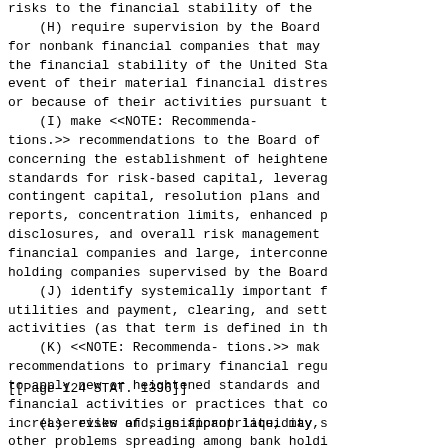risks to the financial stability of the
    (H) require supervision by the Board
for nonbank financial companies that may
the financial stability of the United Sta
event of their material financial distres
or because of their activities pursuant t
    (I) make <<NOTE: Recommenda-
tions.>> recommendations to the Board of
concerning the establishment of heightene
standards for risk-based capital, leverag
contingent capital, resolution plans and
reports, concentration limits, enhanced p
disclosures, and overall risk management
financial companies and large, interconne
holding companies supervised by the Board
    (J) identify systemically important f
utilities and payment, clearing, and sett
activities (as that term is defined in th
    (K) <<NOTE: Recommenda- tions.>> mak
recommendations to primary financial regu
to apply new or heightened standards and
financial activities or practices that co
increase risks of significant liquidity,
other problems spreading among bank holdi
nonbank financial companies, and United S
markets;
[[Page 124 STAT. 1396]]
(L) review and, as appropriate, may s